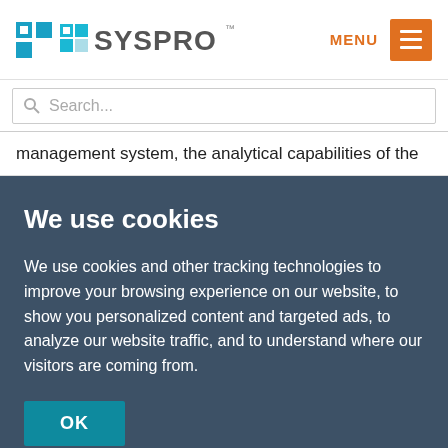SYSPRO
management system, the analytical capabilities of the
We use cookies
We use cookies and other tracking technologies to improve your browsing experience on our website, to show you personalized content and targeted ads, to analyze our website traffic, and to understand where our visitors are coming from.
OK